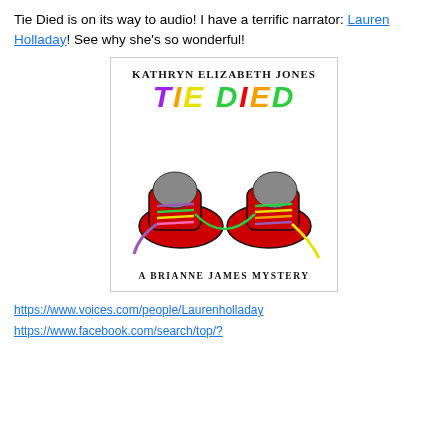Tie Died is on its way to audio! I have a terrific narrator: Lauren Holladay! See why she's so wonderful!
[Figure (illustration): Book cover for 'Tie Died' by Kathryn Elizabeth Jones, showing two red sneakers with colorful laces tied together, with the title in large multicolored letters and subtitle 'A Brianne James Mystery']
https://www.voices.com/people/Laurenholladay
https://www.facebook.com/search/top/?